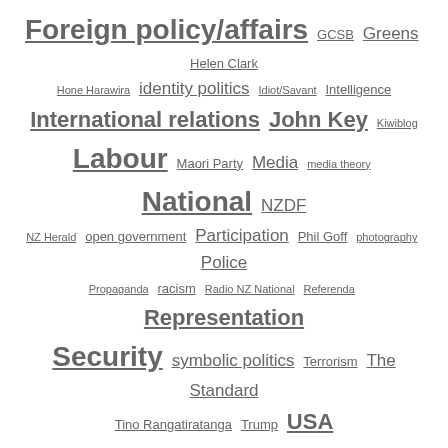[Figure (infographic): Tag cloud with political/media topic tags in varying font sizes. Tags include: Foreign policy/affairs, GCSB, Greens, Helen Clark, Hone Harawira, identity politics, Idiot/Savant, Intelligence, International relations, John Key, Kiwiblog, Labour, Maori Party, Media, media theory, National, NZDF, NZ Herald, open government, Participation, Phil Goff, photography, Police, Propaganda, racism, Radio NZ National, Referenda, Representation, Security, symbolic politics, Terrorism, The Standard, Tino Rangatiratanga, Trump, USA]
August 2022 (4)
July 2022 (2)
June 2022 (4)
May 2022 (4)
April 2022 (5)
March 2022 (3)